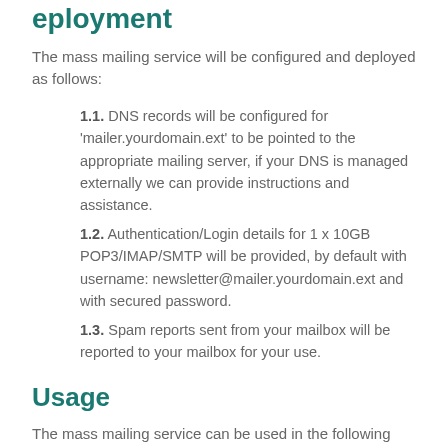Deployment
The mass mailing service will be configured and deployed as follows:
1.1. DNS records will be configured for 'mailer.yourdomain.ext' to be pointed to the appropriate mailing server, if your DNS is managed externally we can provide instructions and assistance.
1.2. Authentication/Login details for 1 x 10GB POP3/IMAP/SMTP will be provided, by default with username: newsletter@mailer.yourdomain.ext and with secured password.
1.3. Spam reports sent from your mailbox will be reported to your mailbox for your use.
Usage
The mass mailing service can be used in the following